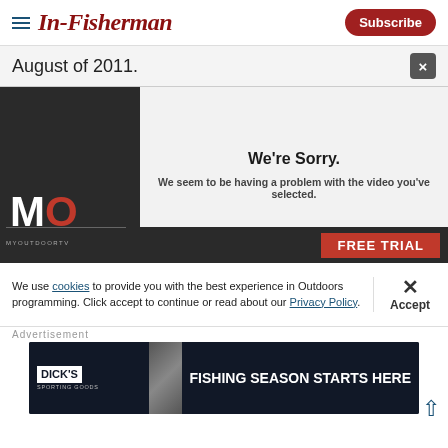In-Fisherman | Subscribe
August of 2011.
[Figure (screenshot): Video player showing error overlay with text 'We're Sorry. We seem to be having a problem with the video you've selected.' over a dark background with MyOutdoorTV branding and FREE TRIAL button]
We're Sorry.
We seem to be having a problem with the video you've selected.
We use cookies to provide you with the best experience in Outdoors programming. Click accept to continue or read about our Privacy Policy.
Advertisement
[Figure (screenshot): Dick's Sporting Goods banner advertisement: FISHING SEASON STARTS HERE]